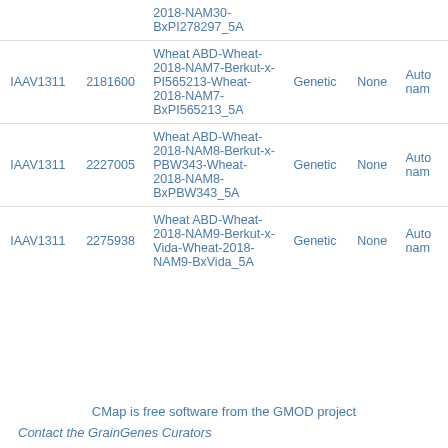| Accession | Feature ID | Feature Name | Map Type | Evidence | Auto-name |
| --- | --- | --- | --- | --- | --- |
|  |  | 2018-NAM30-BxPI278297_5A |  |  |  |
| IAAV1311 | 2181600 | Wheat ABD-Wheat-2018-NAM7-Berkut-x-PI565213-Wheat-2018-NAM7-BxPI565213_5A | Genetic | None | Auta nam |
| IAAV1311 | 2227005 | Wheat ABD-Wheat-2018-NAM8-Berkut-x-PBW343-Wheat-2018-NAM8-BxPBW343_5A | Genetic | None | Auta nam |
| IAAV1311 | 2275938 | Wheat ABD-Wheat-2018-NAM9-Berkut-x-Vida-Wheat-2018-NAM9-BxVida_5A | Genetic | None | Auta nam |
CMap is free software from the GMOD project
Contact the GrainGenes Curators